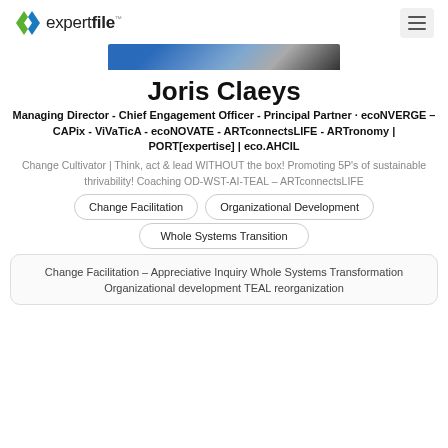expertfile
[Figure (photo): Partial profile photo strip showing blue and dark tones]
Joris Claeys
Managing Director - Chief Engagement Officer - Principal Partner · ecoNVERGE – CAPix - ViVaTicA - ecoNOVATE - ARTconnectsLIFE - ARTronomy | PORT[expertise] | eco.AHCIL
Change Cultivator | Think, act & lead WITHOUT the box! Promoting 5P's of sustainable thrivability! Coaching OD-WST-AI-TEAL – ARTconnectsLIFE
Change Facilitation
Organizational Development
Whole Systems Transition
Change Facilitation – Appreciative Inquiry Whole Systems Transformation Organizational development TEAL reorganization